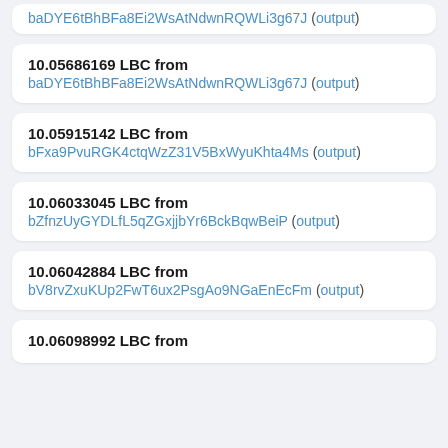10.05686169 LBC from baDYE6tBhBFa8Ei2WsAtNdwnRQWLi3g67J (output)
10.05915142 LBC from bFxa9PvuRGK4ctqWzZ31V5BxWyuKhta4Ms (output)
10.06033045 LBC from bZfnzUyGYDLfL5qZGxjjbYr6BckBqwBeiP (output)
10.06042884 LBC from bV8rvZxuKUp2FwT6ux2PsgAo9NGaEnEcFm (output)
10.06098992 LBC from